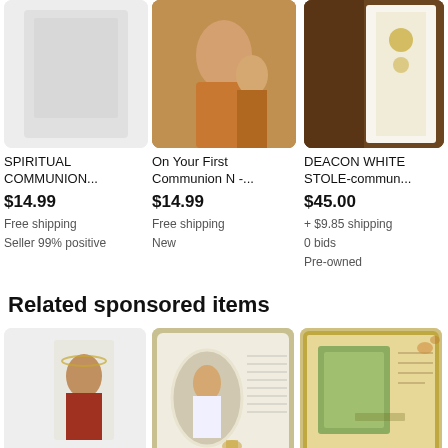[Figure (screenshot): Product listing image for SPIRITUAL COMMUNION - gray/white placeholder image]
SPIRITUAL COMMUNION...
$14.99
Free shipping
Seller 99% positive
[Figure (screenshot): Product listing image for On Your First Communion N - religious painting of Jesus with children]
On Your First Communion N -...
$14.99
Free shipping
New
[Figure (screenshot): Product listing image for DEACON WHITE STOLE-commun - white stole on wood background]
DEACON WHITE STOLE-commun...
$45.00
+ $9.85 shipping
0 bids
Pre-owned
Related sponsored items
[Figure (screenshot): Sponsored item card 1 - religious card with Jesus image on gray background]
[Figure (screenshot): Sponsored item card 2 - First Communion photo frame with oval opening, decorated with flowers and communion prayer text]
[Figure (screenshot): Sponsored item card 3 - decorative photo frame with floral design and green mat]